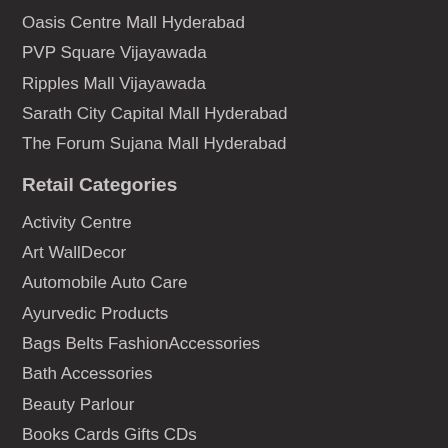Oasis Centre Mall Hyderabad
PVP Square Vijayawada
Ripples Mall Vijayawada
Sarath City Capital Mall Hyderabad
The Forum Sujana Mall Hyderabad
Retail Categories
Activity Centre
Art WallDecor
Automobile Auto Care
Ayurvedic Products
Bags Belts FashionAccessories
Bath Accessories
Beauty Parlour
Books Cards Gifts CDs